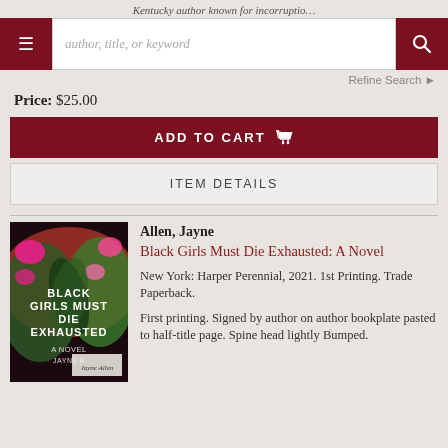Kentucky author known for incorruptio…
Price: $25.00
ADD TO CART
ITEM DETAILS
[Figure (illustration): Book cover for 'Black Girls Must Die Exhausted' by Jayne Allen showing tropical foliage on dark background with colorful floral elements and a signed bookplate visible]
Allen, Jayne
Black Girls Must Die Exhausted: A Novel
New York: Harper Perennial, 2021. 1st Printing. Trade Paperback.
First printing. Signed by author on author bookplate pasted to half-title page. Spine head lightly Bumped.
Refine Search